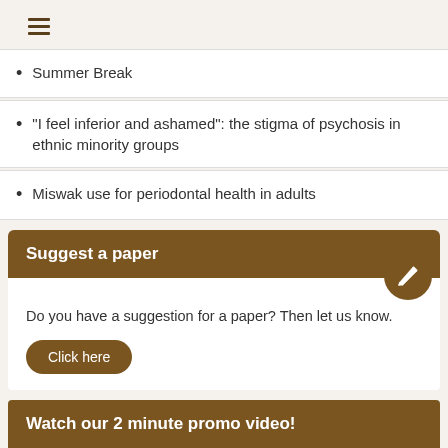[Figure (other): Hamburger menu icon (three horizontal lines)]
Summer Break
“I feel inferior and ashamed”: the stigma of psychosis in ethnic minority groups
Miswak use for periodontal health in adults
Suggest a paper
Do you have a suggestion for a paper? Then let us know.
Click here
Watch our 2 minute promo video!
[Figure (illustration): Animated cartoon characters (children) celebrating with fireworks, set against a night sky with moon.]